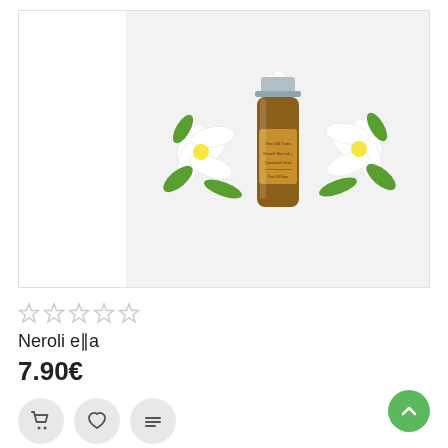[Figure (photo): Product photo of Neroli essential oil bottle surrounded by white flowers with green leaves on a light gray background]
★★★★★ (empty stars rating)
Neroli ella
7.90€
[Figure (infographic): Action buttons: shopping cart, heart/wishlist, and list/compare icons in circular gray buttons, plus a green back-to-top arrow button]